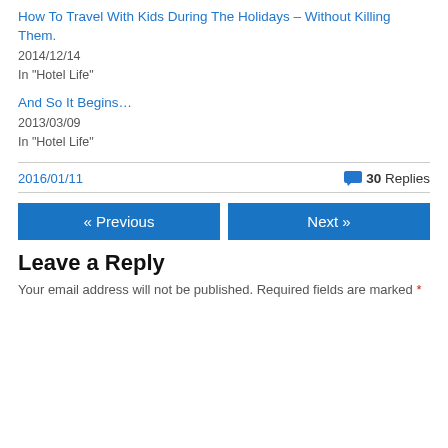How To Travel With Kids During The Holidays – Without Killing Them.
2014/12/14
In "Hotel Life"
And So It Begins…
2013/03/09
In "Hotel Life"
2016/01/11
30 Replies
« Previous
Next »
Leave a Reply
Your email address will not be published. Required fields are marked *